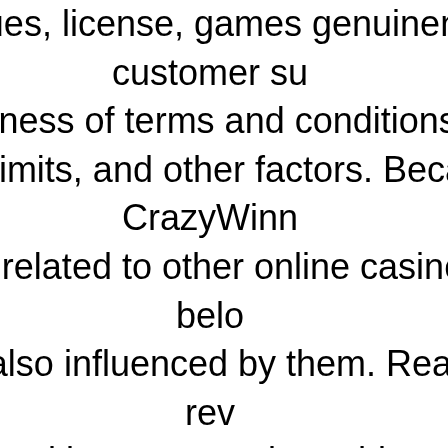revenues, license, games genuineness, customer support quality, fairness of terms and conditions, withdrawal win limits, and other factors. Because CrazyWinners Casino is related to other online casinos listed below, rating is also influenced by them. Read the full review below and learn more about this casino. According to our research and estimates, CrazyWinners Casino is a medium sized online casino revenue wise. It's a part of a group of related casinos, however, this group is still medium sized even when evaluated as a whole. The revenue of a casino is an important factor, as bigger casinos shouldn't have any issues paying out big wins, while smaller casinos could potentially struggle if you manage to win really big. We currently have 11 complaints directly about this casino in our database, as well as 22 complaints about other casinos related to it. Because of these complaints, in our opinion this